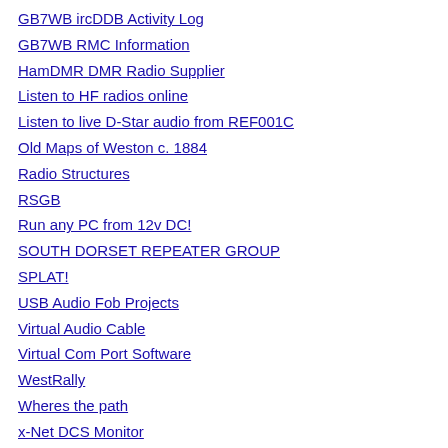GB7WB ircDDB Activity Log
GB7WB RMC Information
HamDMR DMR Radio Supplier
Listen to HF radios online
Listen to live D-Star audio from REF001C
Old Maps of Weston c. 1884
Radio Structures
RSGB
Run any PC from 12v DC!
SOUTH DORSET REPEATER GROUP
SPLAT!
USB Audio Fob Projects
Virtual Audio Cable
Virtual Com Port Software
WestRally
Wheres the path
x-Net DCS Monitor
x-NET DCS Reflector Dashboard
x-NET DCS Reflector User Information